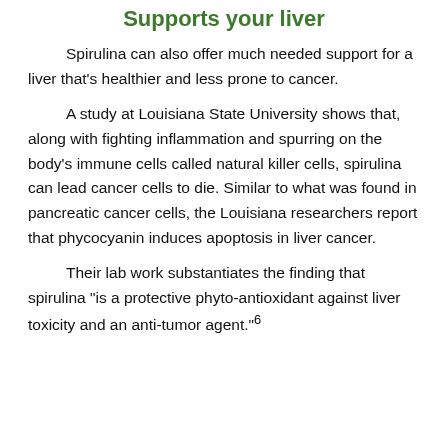Supports your liver
Spirulina can also offer much needed support for a liver that’s healthier and less prone to cancer.
A study at Louisiana State University shows that, along with fighting inflammation and spurring on the body’s immune cells called natural killer cells, spirulina can lead cancer cells to die. Similar to what was found in pancreatic cancer cells, the Louisiana researchers report that phycocyanin induces apoptosis in liver cancer.
Their lab work substantiates the finding that spirulina “is a protective phyto-antioxidant against liver toxicity and an anti-tumor agent.”⁶